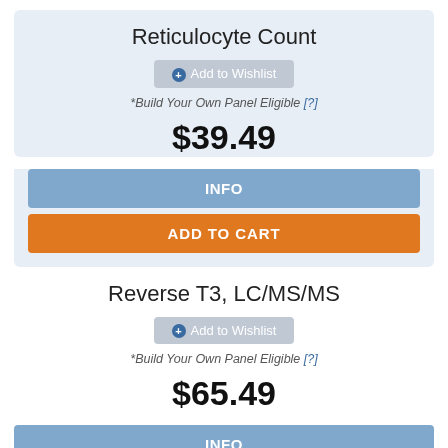Reticulocyte Count
Add to Wishlist
*Build Your Own Panel Eligible [?]
$39.49
INFO
ADD TO CART
Reverse T3, LC/MS/MS
Add to Wishlist
*Build Your Own Panel Eligible [?]
$65.49
INFO
ADD TO CART
TrustedSite